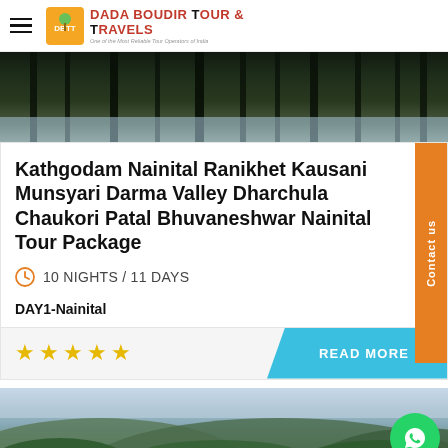DADA BOUDIR TOUR & TRAVELS
[Figure (photo): Dark forest with tall pine trees and misty sky]
Kathgodam Nainital Ranikhet Kausani Munsyari Darma Valley Dharchula Chaukori Patal Bhuvaneshwar Nainital Tour Package
10 NIGHTS / 11 DAYS
DAY1-Nainital
READ MORE
[Figure (photo): Mountain landscape with hills, trees and hazy sky, WhatsApp button overlay]